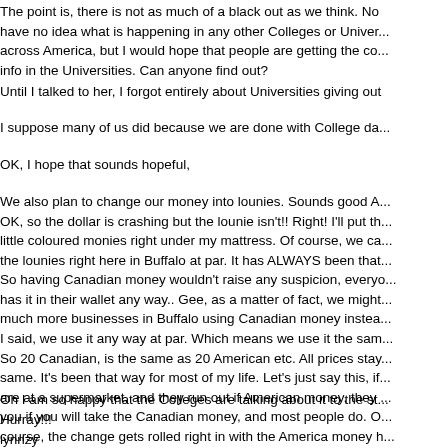The point is, there is not as much of a black out as we think. No have no idea what is happening in any other Colleges or Univer... across America, but I would hope that people are getting the co... info in the Universities. Can anyone find out?
Until I talked to her, I forgot entirely about Universities giving out
I suppose many of us did because we are done with College da...
OK, I hope that sounds hopeful,
We also plan to change our money into lounies. Sounds good A... OK, so the dollar is crashing but the lounie isn't!! Right! I'll put th... little coloured monies right under my mattress. Of course, we ca... the lounies right here in Buffalo at par. It has ALWAYS been tha... So having Canadian money wouldn't raise any suspicion, everyo... has it in their wallet any way.. Gee, as a matter of fact, we might... much more businesses in Buffalo using Canadian money instea... I said, we use it any way at par. Which means we use it the sam... So 20 Canadian, is the same as 20 American etc. All prices stay... same. It's been that way for most of my life. Let's just say this, if... are at a supermarket, and they run out if American money, they ... you if you will take the Canadian money, and most people do. O... course, the change gets rolled right in with the America money h... This place is crazy here, I swear.
Oh I am so happy that the Colleges are talking about it to the st... Hurray!!!
lynnzy